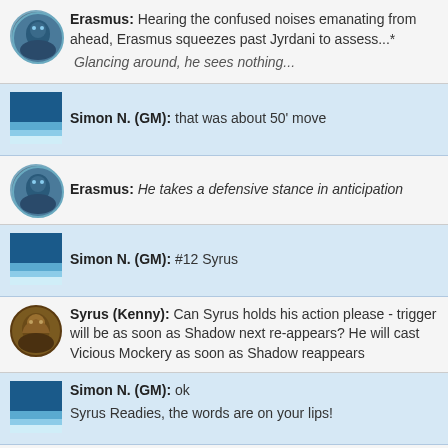Erasmus: Hearing the confused noises emanating from ahead, Erasmus squeezes past Jyrdani to assess...* Glancing around, he sees nothing...
Simon N. (GM): that was about 50' move
Erasmus: He takes a defensive stance in anticipation
Simon N. (GM): #12 Syrus
Syrus (Kenny): Can Syrus holds his action please - trigger will be as soon as Shadow next re-appears? He will cast Vicious Mockery as soon as Shadow reappears
Simon N. (GM): ok
Syrus Readies, the words are on your lips!
Syrus (Kenny): (And the word could be "You Ct!")
Simon N. (GM): Sentry Gun icon for Readied Action - machinegin wit :)
rolling d2
( 1 )